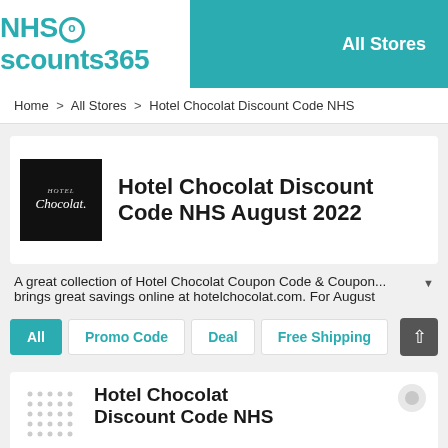NHSdiscounts365 | All Stores
Home > All Stores > Hotel Chocolat Discount Code NHS
[Figure (logo): Hotel Chocolat brand logo — black square with white italic cursive text 'Chocolat']
Hotel Chocolat Discount Code NHS August 2022
A great collection of Hotel Chocolat Coupon Code & Coupon... brings great savings online at hotelchocolat.com. For August
All | Promo Code | Deal | Free Shipping
Hotel Chocolat Discount Code NHS